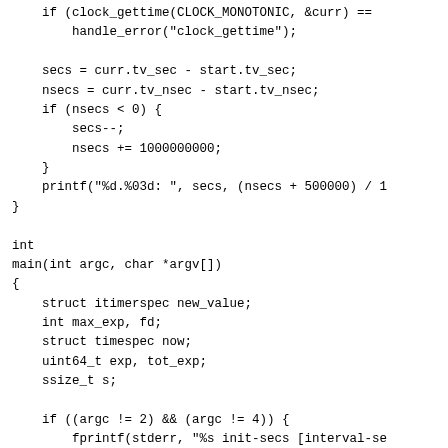if (clock_gettime(CLOCK_MONOTONIC, &curr) ==
        handle_error("clock_gettime");

    secs = curr.tv_sec - start.tv_sec;
    nsecs = curr.tv_nsec - start.tv_nsec;
    if (nsecs < 0) {
        secs--;
        nsecs += 1000000000;
    }
    printf("%d.%03d: ", secs, (nsecs + 500000) / 1
}

int
main(int argc, char *argv[])
{
    struct itimerspec new_value;
    int max_exp, fd;
    struct timespec now;
    uint64_t exp, tot_exp;
    ssize_t s;

    if ((argc != 2) && (argc != 4)) {
        fprintf(stderr, "%s init-secs [interval-se
                argv[0]);
        exit(EXIT_FAILURE);
    }

    if (clock_gettime(CLOCK_REALTIME, &now) == -1)
        handle_error("clock_gettime");